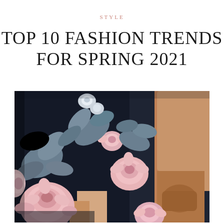STYLE
TOP 10 FASHION TRENDS FOR SPRING 2021
[Figure (photo): Close-up photo of a person wearing a dark navy floral dress with pink and blue-grey flower prints. The dress has a slit revealing the leg. The person is holding the dress fabric with one hand.]